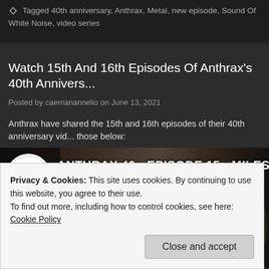Tagged 40th anniversary, Anthrax, Metal, new episode, Sound Of White Noise, video series
Watch 15th And 16th Episodes Of Anthrax's 40th Anniversary...
Posted by caemanannelio on June 13, 2021
Anthrax have shared the 15th and 16th episodes of their 40th anniversary vid... those below:
[Figure (screenshot): Video thumbnail for ANTHRAX 40 - EPISODE 15 - MILESTONES showing the Anthrax logo and blurred group photo]
Privacy & Cookies: This site uses cookies. By continuing to use this website, you agree to their use.
To find out more, including how to control cookies, see here: Cookie Policy
Close and accept